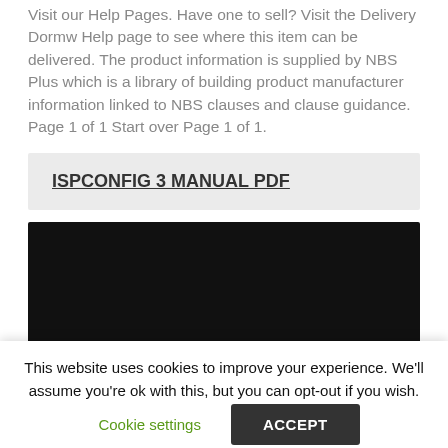Visit our Help Pages. Have one to sell? Visit the Delivery Dormw Help page to see where this item can be delivered. The product information is supplied by NBS Plus which is a library of building product manufacturer information linked to NBS clauses and clause guidance. Page 1 of 1 Start over Page 1 of 1.
ISPCONFIG 3 MANUAL PDF
[Figure (other): Black rectangle, likely a video or image placeholder]
This website uses cookies to improve your experience. We'll assume you're ok with this, but you can opt-out if you wish.
Cookie settings   ACCEPT